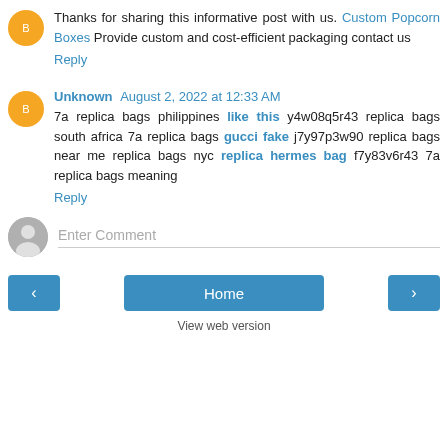Thanks for sharing this informative post with us. Custom Popcorn Boxes Provide custom and cost-efficient packaging contact us
Reply
Unknown August 2, 2022 at 12:33 AM
7a replica bags philippines like this y4w08q5r43 replica bags south africa 7a replica bags gucci fake j7y97p3w90 replica bags near me replica bags nyc replica hermes bag f7y83v6r43 7a replica bags meaning
Reply
Enter Comment
Home
View web version